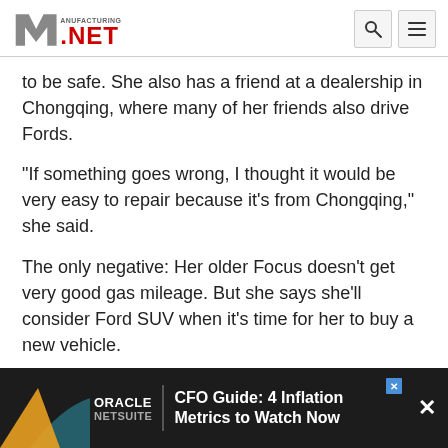Manufacturing.net
to be safe. She also has a friend at a dealership in Chongqing, where many of her friends also drive Fords.
"If something goes wrong, I thought it would be very easy to repair because it's from Chongqing," she said.
The only negative: Her older Focus doesn't get very good gas mileage. But she says she'll consider Ford SUV when it's time for her to buy a new vehicle.
[Figure (other): Oracle NetSuite advertisement banner: CFO Guide: 4 Inflation Metrics to Watch Now]